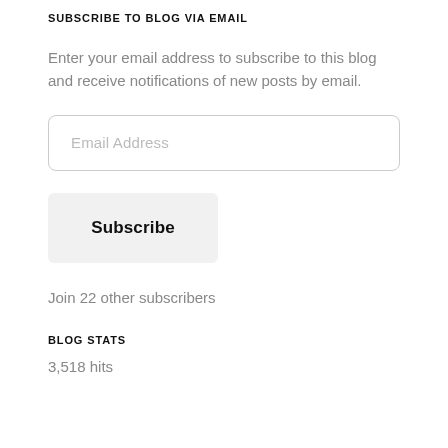SUBSCRIBE TO BLOG VIA EMAIL
Enter your email address to subscribe to this blog and receive notifications of new posts by email.
[Figure (screenshot): Email address input field with rounded border and placeholder text 'Email Address']
[Figure (screenshot): Subscribe button with light gray background]
Join 22 other subscribers
BLOG STATS
3,518 hits